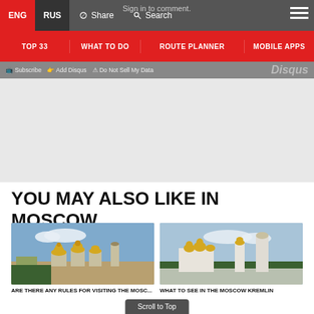ENG | RUS | Share | Search | [menu]
Sign in to comment.
TOP 33 | WHAT TO DO | ROUTE PLANNER | MOBILE APPS
Subscribe | Add Disqus | Do Not Sell My Data | Disqus
YOU MAY ALSO LIKE IN MOSCOW
[Figure (photo): Golden domed church in Moscow Kremlin]
[Figure (photo): White church with golden domes and bell tower in Moscow Kremlin]
ARE THERE ANY RULES FOR VISITING THE MOSC...
WHAT TO SEE IN THE MOSCOW KREMLIN
Scroll to Top